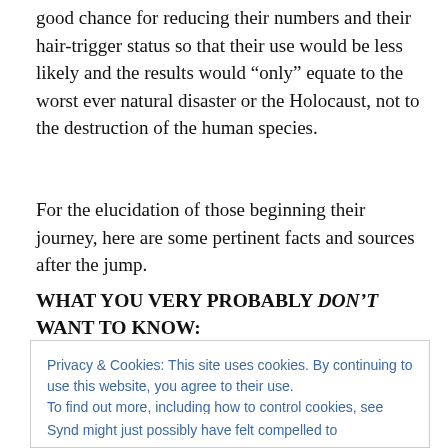good chance for reducing their numbers and their hair-trigger status so that their use would be less likely and the results would “only” equate to the worst ever natural disaster or the Holocaust, not to the destruction of the human species.
For the elucidation of those beginning their journey, here are some pertinent facts and sources after the jump.
WHAT YOU VERY PROBABLY DON’T WANT TO KNOW:
Privacy & Cookies: This site uses cookies. By continuing to use this website, you agree to their use.
To find out more, including how to control cookies, see here: Cookie Policy
Synd might just possibly have felt compelled to